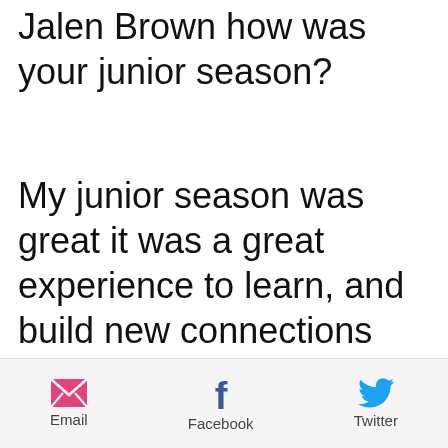Jalen Brown how was your junior season?
My junior season was great it was a great experience to learn, and build new connections with
[Figure (infographic): Share bar with Email, Facebook, and Twitter icons and labels]